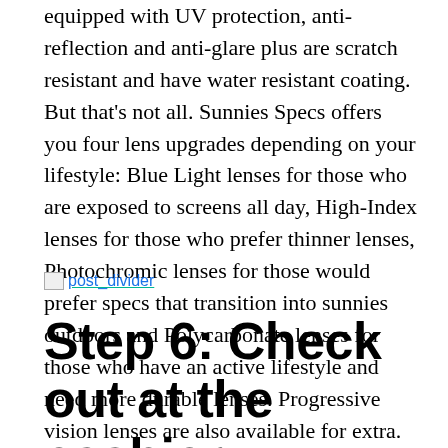equipped with UV protection, anti-reflection and anti-glare plus are scratch resistant and have water resistant coating. But that's not all. Sunnies Specs offers you four lens upgrades depending on your lifestyle: Blue Light lenses for those who are exposed to screens all day, High-Index lenses for those who prefer thinner lenses, Photochromic lenses for those would prefer specs that transition into sunnies outdoors and Polycarbonate lenses for those who have an active lifestyle and need more durable lenses. Progressive vision lenses are also available for extra.
[Figure (illustration): post_divider image with teal underline link text]
Step 6: Check out at the cashier